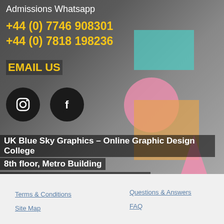Admissions Whatsapp
+44 (0) 7746 908301
+44 (0) 7818 198236
EMAIL US
[Figure (illustration): Instagram and Facebook social media icons as black circles with white logos]
UK Blue Sky Graphics – Online Graphic Design College
8th floor, Metro Building
1 Butterwick, London, W6 8DL (UK)
Terms & Conditions
Site Map
Questions & Answers
FAQ